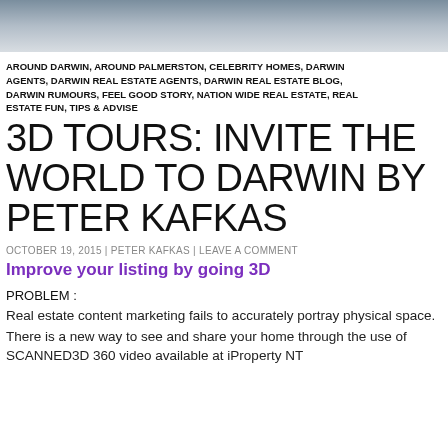[Figure (photo): Partial photo strip at top of page showing a person, cropped]
AROUND DARWIN, AROUND PALMERSTON, CELEBRITY HOMES, DARWIN AGENTS, DARWIN REAL ESTATE AGENTS, DARWIN REAL ESTATE BLOG, DARWIN RUMOURS, FEEL GOOD STORY, NATION WIDE REAL ESTATE, REAL ESTATE FUN, TIPS & ADVISE
3D TOURS: INVITE THE WORLD TO DARWIN BY PETER KAFKAS
OCTOBER 19, 2015 | PETER KAFKAS | LEAVE A COMMENT
Improve your listing by going 3D
PROBLEM :
Real estate content marketing fails to accurately portray physical space.
There is a new way to see and share your home through the use of SCANNED3D 360 video available at iProperty NT